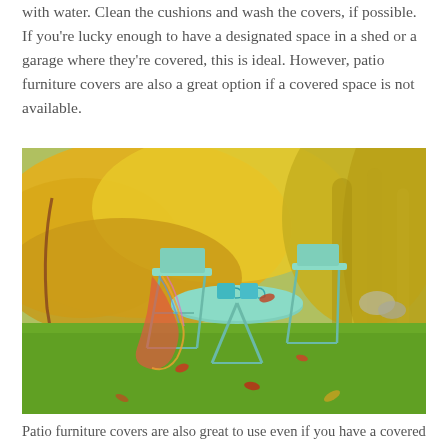with water. Clean the cushions and wash the covers, if possible. If you're lucky enough to have a designated space in a shed or a garage where they're covered, this is ideal. However, patio furniture covers are also a great option if a covered space is not available.
[Figure (photo): Outdoor patio scene with mint green bistro table and two chairs on a green lawn, with colorful autumn yellow foliage in the background. A multicolored blanket is draped over one chair, and two teal mugs sit on the table.]
Patio furniture covers are also great to use even if you have a covered space. They add a bit more protection to